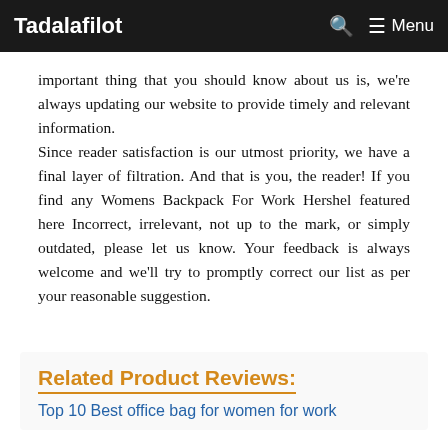Tadalafilot | Menu
important thing that you should know about us is, we're always updating our website to provide timely and relevant information. Since reader satisfaction is our utmost priority, we have a final layer of filtration. And that is you, the reader! If you find any Womens Backpack For Work Hershel featured here Incorrect, irrelevant, not up to the mark, or simply outdated, please let us know. Your feedback is always welcome and we'll try to promptly correct our list as per your reasonable suggestion.
Related Product Reviews:
Top 10 Best office bag for women for work